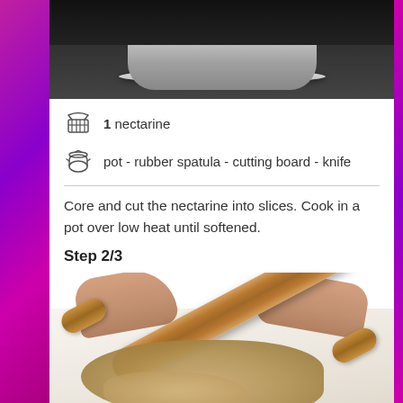[Figure (photo): Top-down view of a stainless steel pot on a black induction stove top]
1 nectarine
pot - rubber spatula - cutting board - knife
Core and cut the nectarine into slices. Cook in a pot over low heat until softened.
Step 2/3
[Figure (photo): Hands using a wooden rolling pin to crush cookies or crackers on a marble surface]